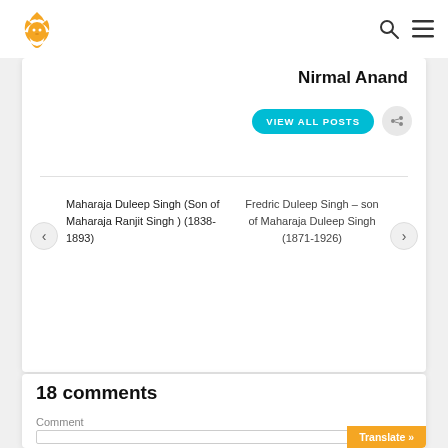Nirmal Anand
VIEW ALL POSTS
Maharaja Duleep Singh (Son of Maharaja Ranjit Singh ) (1838-1893)
Fredric Duleep Singh – son of Maharaja Duleep Singh (1871-1926)
18 comments
Comment
Translate »